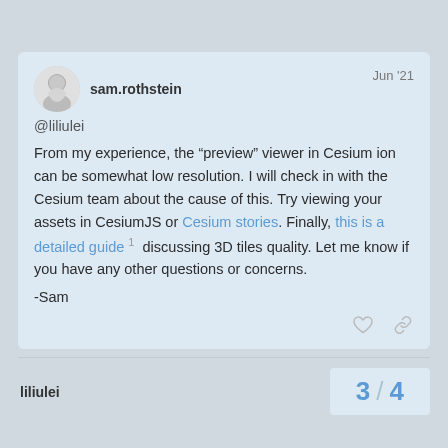sam.rothstein
Jun '21
@liliulei
From my experience, the “preview” viewer in Cesium ion can be somewhat low resolution. I will check in with the Cesium team about the cause of this. Try viewing your assets in CesiumJS or Cesium stories. Finally, this is a detailed guide 1 discussing 3D tiles quality. Let me know if you have any other questions or concerns.
-Sam
liliulei
3 / 4